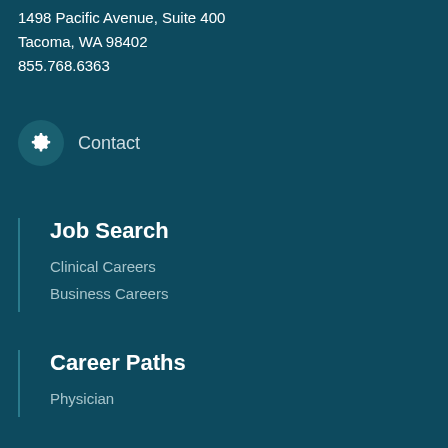1498 Pacific Avenue, Suite 400
Tacoma, WA 98402
855.768.6363
Contact
Job Search
Clinical Careers
Business Careers
Career Paths
Physician